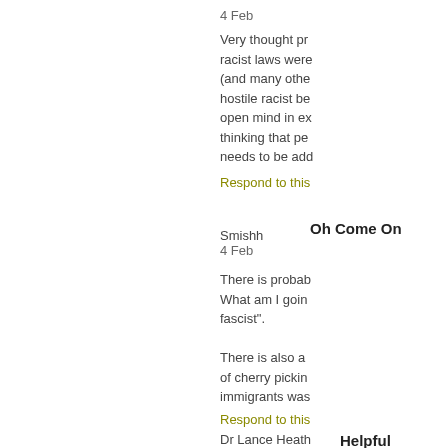4 Feb
Very thought pr... racist laws were... (and many othe... hostile racist be... open mind in ex... thinking that pe... needs to be add...
Respond to this
Smishh
4 Feb
Oh Come On
There is probab... What am I goin... fascist".
There is also a... of cherry pickin... immigrants was...
Respond to this
Dr Lance Heath
Helpful